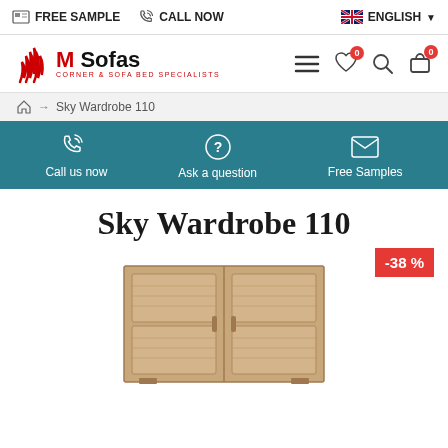FREE SAMPLE   CALL NOW   ENGLISH
[Figure (logo): M Sofas logo with red waves icon and tagline CORNER & SOFA BED SPECIALISTS]
Sky Wardrobe 110 breadcrumb navigation
[Figure (infographic): Teal banner with three options: Call us now, Ask a question, Free Samples]
Sky Wardrobe 110
-38 %
[Figure (photo): Sky Wardrobe 110 product image showing a wooden wardrobe with two doors in natural oak finish]